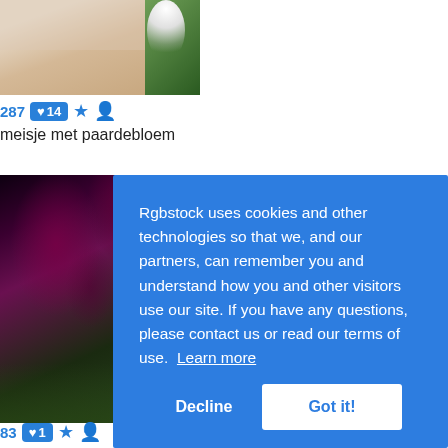[Figure (photo): Photo of a girl blowing a dandelion against a green background, partially visible at top]
287  ♥14  ★  👤
meisje met paardebloem
[Figure (photo): Photo of dark red/purple tulips with green stems and leaves]
Rgbstock uses cookies and other technologies so that we, and our partners, can remember you and understand how you and other visitors use our site. If you have any questions, please contact us or read our terms of use.  Learn more
Decline   Got it!
83  ♥1  ★  👤